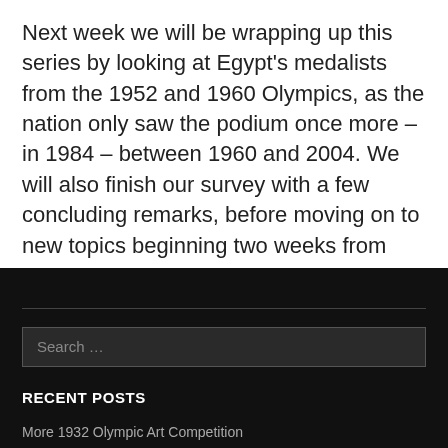Next week we will be wrapping up this series by looking at Egypt’s medalists from the 1952 and 1960 Olympics, as the nation only saw the podium once more – in 1984 – between 1960 and 2004. We will also finish our survey with a few concluding remarks, before moving on to new topics beginning two weeks from now.
Search …
RECENT POSTS
More 1932 Olympic Art Competition